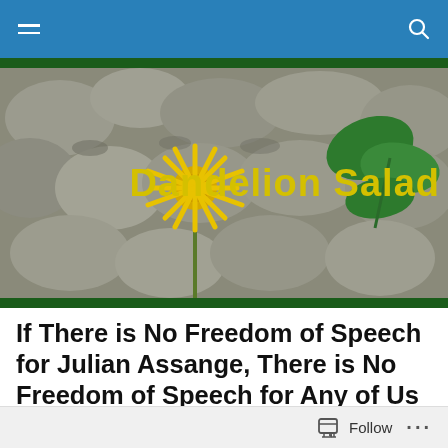Navigation bar with hamburger menu and search icon
[Figure (photo): Dandelion Salad website banner: a yellow dandelion flower against grey rocks and green leaves, with the text 'Dandelion Salad' in yellow on the right side]
If There is No Freedom of Speech for Julian Assange, There is No Freedom of Speech for Any of Us by John Pilger
Follow ...